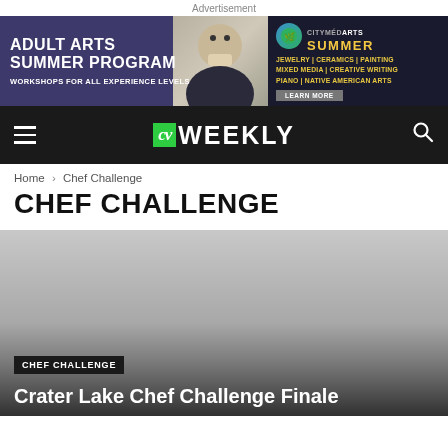Advertisement
[Figure (illustration): Advertisement banner for Adult Arts Summer Program with photo of a woman crafting, alongside a CityMédArts Summer ad listing jewelry, ceramics, painting, mixed media, creative writing, piano, native american arts with a learn more button.]
CV WEEKLY
Home › Chef Challenge
CHEF CHALLENGE
[Figure (photo): A large greyscale/faded image serving as background for an article card with tag CHEF CHALLENGE and headline Crater Lake Chef Challenge Finale]
CHEF CHALLENGE
Crater Lake Chef Challenge Finale